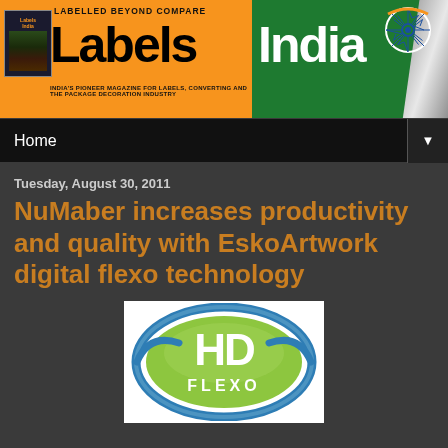[Figure (logo): Labels India magazine banner with orange left section showing 'Labels India' text and magazine cover, and green right section showing 'India' text with Indian flag motif and silver diagonal strip]
Home
Tuesday, August 30, 2011
NuMaber increases productivity and quality with EskoArtwork digital flexo technology
[Figure (logo): HD Flexo logo - green ellipse with blue border showing 'HD FLEXO' text in white and silver]